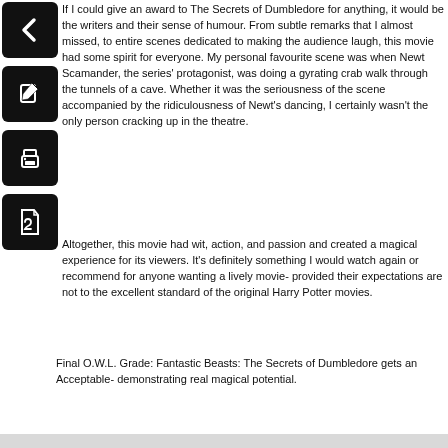[Figure (illustration): Back arrow icon in black rounded square]
[Figure (illustration): Edit/pencil icon in black rounded square]
If I could give an award to The Secrets of Dumbledore for anything, it would be the writers and their sense of humour. From subtle remarks that I almost missed, to entire scenes dedicated to making the audience laugh, this movie had some spirit for everyone. My personal favourite scene was when Newt Scamander, the series' protagonist, was doing a gyrating crab walk through the tunnels of a cave. Whether it was the seriousness of the scene accompanied by the ridiculousness of Newt's dancing, I certainly wasn't the only person cracking up in the theatre.
[Figure (illustration): Print icon in black rounded square]
[Figure (illustration): PDF/document icon in black rounded square]
Altogether, this movie had wit, action, and passion and created a magical experience for its viewers. It's definitely something I would watch again or recommend for anyone wanting a lively movie- provided their expectations are not to the excellent standard of the original Harry Potter movies.
Final O.W.L. Grade: Fantastic Beasts: The Secrets of Dumbledore gets an Acceptable- demonstrating real magical potential.